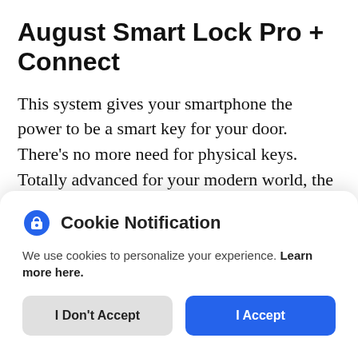August Smart Lock Pro + Connect
This system gives your smartphone the power to be a smart key for your door. There's no more need for physical keys. Totally advanced for your modern world, the Smart Lock Pro comes with the August Connect Bridge. Using Wi-Fi, the system can manage multiple features of your lock from anywhere.
Cookie Notification
We use cookies to personalize your experience. Learn more here.
I Don't Accept
I Accept